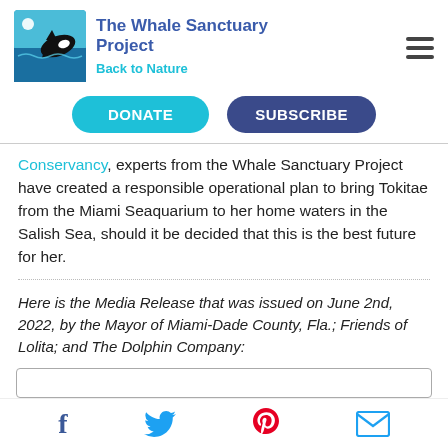[Figure (logo): The Whale Sanctuary Project logo with orca and tagline 'Back to Nature']
DONATE
SUBSCRIBE
Conservancy, experts from the Whale Sanctuary Project have created a responsible operational plan to bring Tokitae from the Miami Seaquarium to her home waters in the Salish Sea, should it be decided that this is the best future for her.
Here is the Media Release that was issued on June 2nd, 2022, by the Mayor of Miami-Dade County, Fla.; Friends of Lolita; and The Dolphin Company: